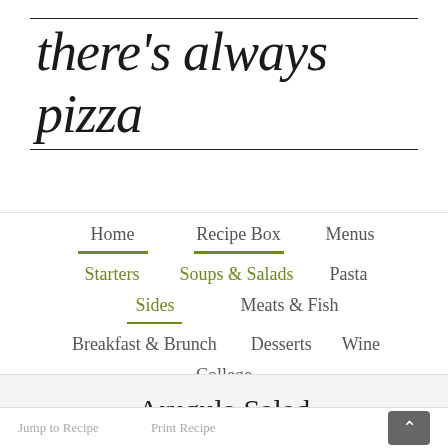there's always pizza
Home
Recipe Box
Menus
Starters
Soups & Salads
Pasta
Sides
Meats & Fish
Breakfast & Brunch
Desserts
Wine
College
Arugula Salad
Jump to Recipe   Print Recipe